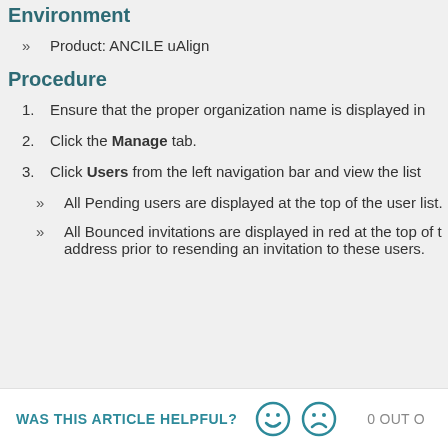Environment
Product: ANCILE uAlign
Procedure
Ensure that the proper organization name is displayed in
Click the Manage tab.
Click Users from the left navigation bar and view the list
All Pending users are displayed at the top of the user list.
All Bounced invitations are displayed in red at the top of the address prior to resending an invitation to these users.
WAS THIS ARTICLE HELPFUL?   0 OUT O